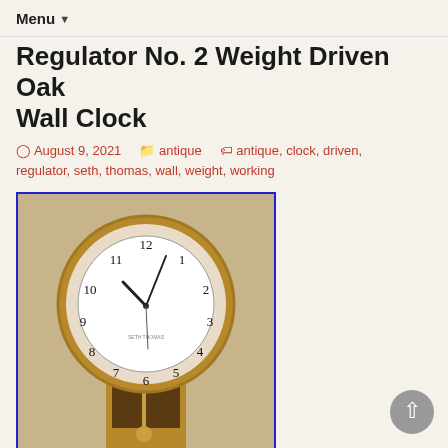Menu
Regulator No. 2 Weight Driven Oak Wall Clock
August 9, 2021   antique   antique, clock, driven, regulator, seth, thomas, wall, weight, working
[Figure (photo): Photograph of an antique Seth Thomas Regulator No. 2 weight-driven oak wall clock with a large round face showing numerals 1-12, ornate oak bezel, and a pendulum cabinet below, displayed against a light wall background. Image has a blue border.]